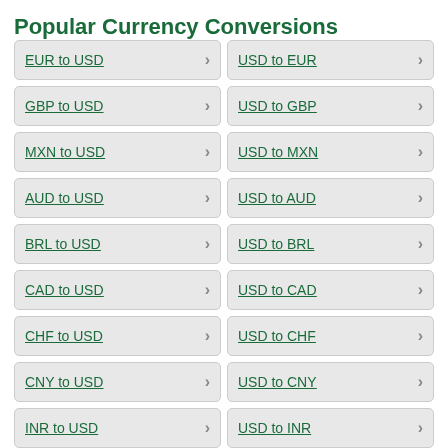Popular Currency Conversions
EUR to USD
USD to EUR
GBP to USD
USD to GBP
MXN to USD
USD to MXN
AUD to USD
USD to AUD
BRL to USD
USD to BRL
CAD to USD
USD to CAD
CHF to USD
USD to CHF
CNY to USD
USD to CNY
INR to USD
USD to INR
JPY to USD
USD to JPY